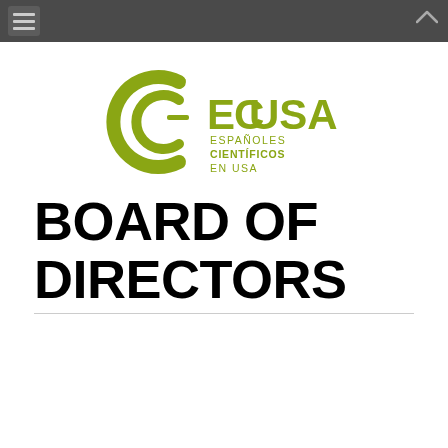Navigation bar with hamburger menu and up arrow
[Figure (logo): ECUSA logo — Españoles Científicos en USA — green circular letter-C icon with a tilde-topped E, followed by text 'ECUSA' in large green capitals, with subtitle 'ESPAÑOLES CIENTÍFICOS EN USA' in smaller green text]
BOARD OF DIRECTORS